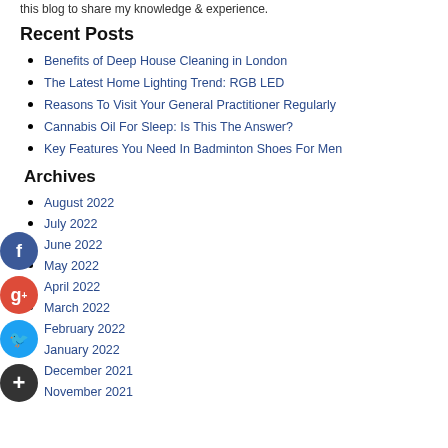this blog to share my knowledge & experience.
Recent Posts
Benefits of Deep House Cleaning in London
The Latest Home Lighting Trend: RGB LED
Reasons To Visit Your General Practitioner Regularly
Cannabis Oil For Sleep: Is This The Answer?
Key Features You Need In Badminton Shoes For Men
Archives
August 2022
July 2022
June 2022
May 2022
April 2022
March 2022
February 2022
January 2022
December 2021
November 2021